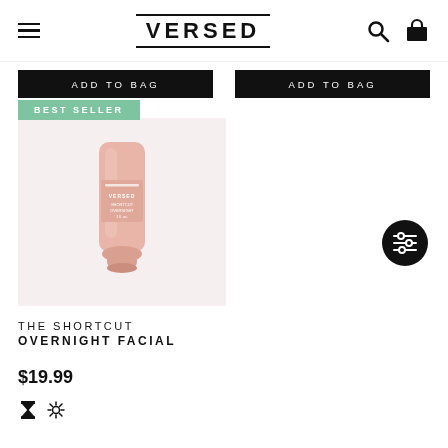VERSED
ADD TO BAG  ADD TO BAG
[Figure (photo): Product photo of a pink tube labeled VERSED 'The Shortcut Overnight Facial' standing upright against a light pink background, with a 'BEST SELLER' green badge overlay]
THE SHORTCUT
OVERNIGHT FACIAL
$19.99
⊠ ✦